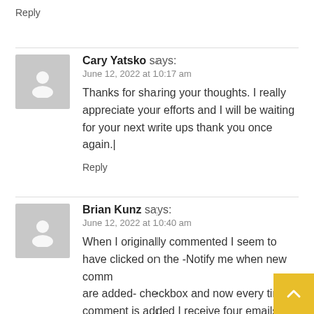Reply
Cary Yatsko says:
June 12, 2022 at 10:17 am
Thanks for sharing your thoughts. I really appreciate your efforts and I will be waiting for your next write ups thank you once again.|
Reply
Brian Kunz says:
June 12, 2022 at 10:40 am
When I originally commented I seem to have clicked on the -Notify me when new comments are added- checkbox and now every time a comment is added I receive four emails with the same comment. Perhaps there is a way you are